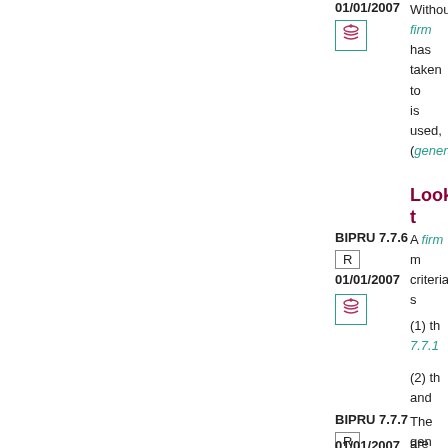01/01/2007
[Figure (other): Stack/layers icon in teal border box]
Without... firm has taken to is used, (genera
Look t
BIPRU 7.7.6
R
01/01/2007
[Figure (other): Stack/layers icon in teal border box]
A firm m criteria s (1) th 7.7.1 (2) th and
BIPRU 7.7.7
R
01/01/2007
The gen BIPRU are that